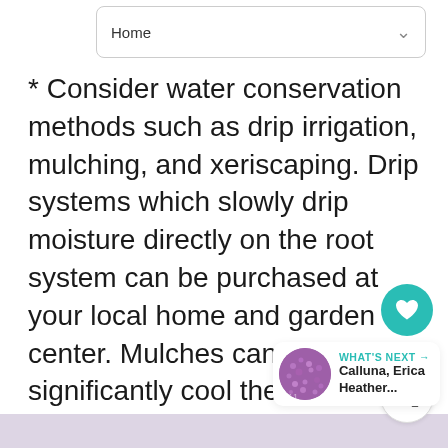Home
* Consider water conservation methods such as drip irrigation, mulching, and xeriscaping. Drip systems which slowly drip moisture directly on the root system can be purchased at your local home and garden center. Mulches can significantly cool the root zone and conserve moisture.
[Figure (screenshot): UI action buttons: heart/like button (teal circle), count label showing 1, share button (white circle with share icon)]
[Figure (screenshot): What's Next card showing a thumbnail of purple heather plant and text 'WHAT'S NEXT → Calluna, Erica Heather...']